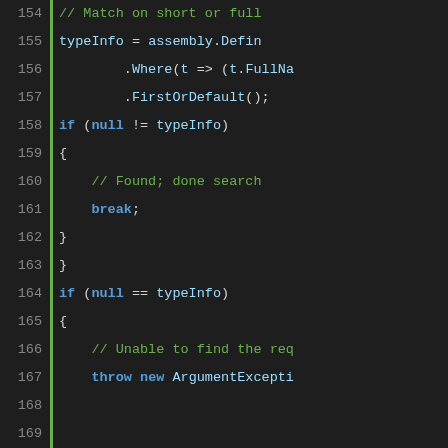[Figure (screenshot): Source code editor showing C# code lines 154-174, dark theme with green line indicator bar on left, line numbers in grey, code in monospace font with syntax highlighting: keywords in blue, comments in green, identifiers in light blue]